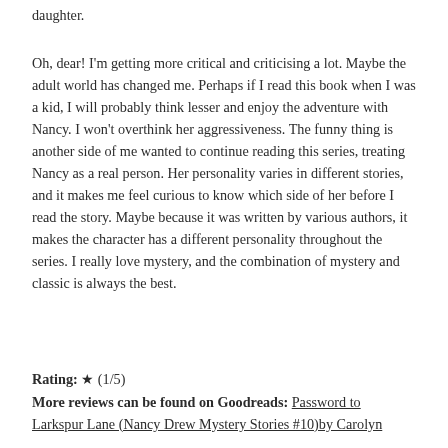daughter.
Oh, dear! I'm getting more critical and criticising a lot. Maybe the adult world has changed me. Perhaps if I read this book when I was a kid, I will probably think lesser and enjoy the adventure with Nancy. I won't overthink her aggressiveness. The funny thing is another side of me wanted to continue reading this series, treating Nancy as a real person. Her personality varies in different stories, and it makes me feel curious to know which side of her before I read the story. Maybe because it was written by various authors, it makes the character has a different personality throughout the series. I really love mystery, and the combination of mystery and classic is always the best.
Rating: ★ (1/5)
More reviews can be found on Goodreads: Password to Larkspur Lane (Nancy Drew Mystery Stories #10)by Carolyn